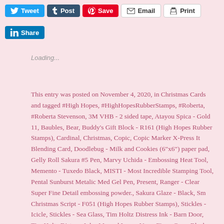[Figure (other): Social sharing buttons row 1: Tweet (blue), Post/Tumblr (dark blue), Save/Pinterest (red), Email (white), Print (white)]
[Figure (other): Social sharing button row 2: LinkedIn Share (blue)]
Loading...
This entry was posted on November 4, 2020, in Christmas Cards and tagged #High Hopes, #HighHopesRubberStamps, #Roberta, #Roberta Stevenson, 3M VHB - 2 sided tape, Atayou Spica - Gold 11, Baubles, Bear, Buddy's Gift Block - R161 (High Hopes Rubber Stamps), Cardinal, Christmas, Copic, Copic Marker X-Press It Blending Card, Doodlebug - Milk and Cookies (6"x6") paper pad, Gelly Roll Sakura #5 Pen, Marvy Uchida - Embossing Heat Tool, Memento - Tuxedo Black, MISTI - Most Incredible Stamping Tool, Pental Sunburst Metalic Med Gel Pen, Present, Ranger - Clear Super Fine Detail embossing powder., Sakura Glaze - Black, Sm Christmas Script - F051 (High Hopes Rubber Stamps), Stickles - Icicle, Stickles - Sea Glass, Tim Holtz Distress Ink - Barn Door, Tim Holtz Distress Ink - Mowed Lawn, Versa Fine - Onyx Black.